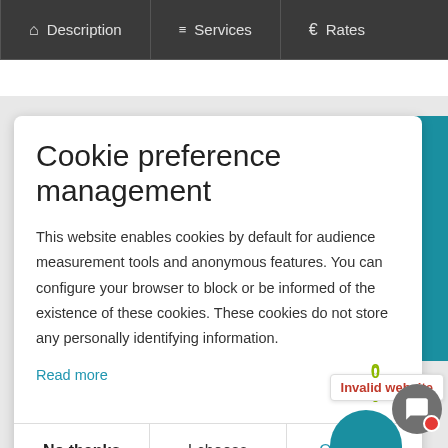Description  Services  Rates
Cookie preference management
This website enables cookies by default for audience measurement tools and anonymous features. You can configure your browser to block or be informed of the existence of these cookies. These cookies do not store any personally identifying information.
Read more
No thanks    I choose    Ok for me
Invalid website